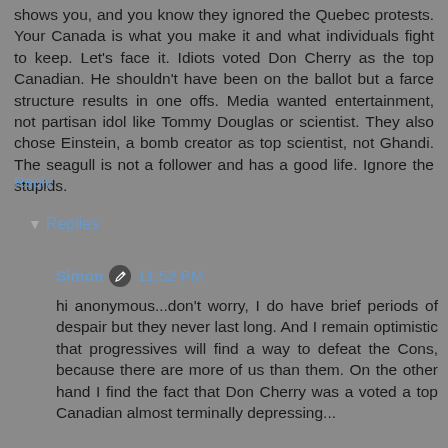shows you, and you know they ignored the Quebec protests. Your Canada is what you make it and what individuals fight to keep. Let's face it. Idiots voted Don Cherry as the top Canadian. He shouldn't have been on the ballot but a farce structure results in one offs. Media wanted entertainment, not partisan idol like Tommy Douglas or scientist. They also chose Einstein, a bomb creator as top scientist, not Ghandi. The seagull is not a follower and has a good life. Ignore the stupids.
Reply
Replies
Simon  11:52 PM
hi anonymous...don't worry, I do have brief periods of despair but they never last long. And I remain optimistic that progressives will find a way to defeat the Cons, because there are more of us than them. On the other hand I find the fact that Don Cherry was a voted a top Canadian almost terminally depressing...